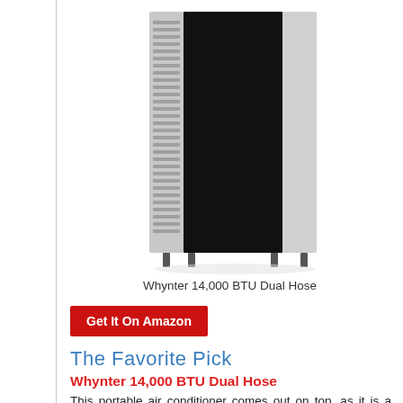[Figure (photo): Whynter 14,000 BTU Dual Hose portable air conditioner unit — tall black and silver tower unit with vented side panels and four legs]
Whynter 14,000 BTU Dual Hose
Get It On Amazon
The Favorite Pick
Whynter 14,000 BTU Dual Hose
This portable air conditioner comes out on top, as it is a wildly versatile pick. It has numerous modes and speeds, as well as a high output and powerful dehumidifier. Best of all it is quiet, so it won't distract you.